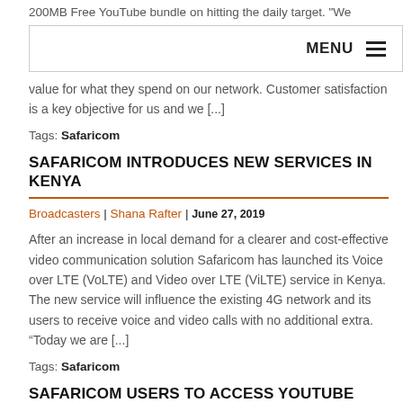200MB Free YouTube bundle on hitting the daily target. "We value for what they spend on our network. Customer satisfaction is a key objective for us and we [...]
MENU
Tags: Safaricom
SAFARICOM INTRODUCES NEW SERVICES IN KENYA
Broadcasters | Shana Rafter | June 27, 2019
After an increase in local demand for a clearer and cost-effective video communication solution Safaricom has launched its Voice over LTE (VoLTE) and Video over LTE (ViLTE) service in Kenya. The new service will influence the existing 4G network and its users to receive voice and video calls with no additional extra. &#8220;Today we are [...]
Tags: Safaricom
SAFARICOM USERS TO ACCESS YOUTUBE FOR FREE
Telecom | Shana Rafter | June 19, 2019